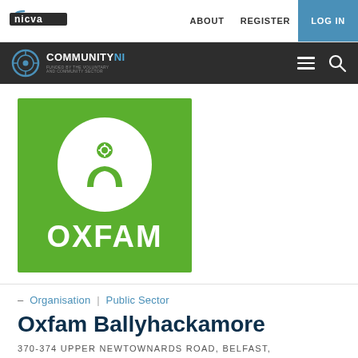[Figure (screenshot): NICVA website navigation bar with logo, ABOUT, REGISTER, and LOG IN links]
[Figure (screenshot): Community NI sub-navigation bar with logo, hamburger menu icon, and search icon]
[Figure (logo): Oxfam logo — green square with white circle containing Oxfam person/ox icon, and OXFAM text in white below]
– Organisation | Public Sector
Oxfam Ballyhackamore
370-374 UPPER NEWTOWNARDS ROAD, BELFAST,